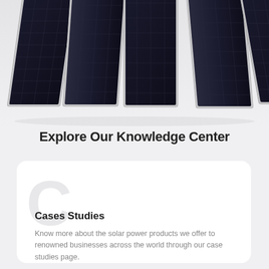[Figure (photo): Multiple black solar panels arranged in a fanned-out display against a light gray background, showing monocrystalline PV modules with silver frames]
Explore Our Knowledge Center
Cases Studies
Know more about the solar power products we offer to renowned businesses across the world through our case studies page.